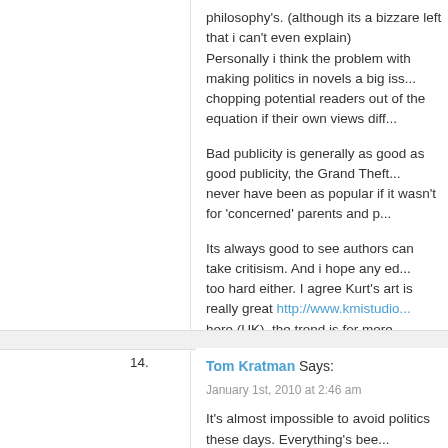philosophy's. (although its a bizzare left that i can't even explain) Personally i think the problem with making politics in novels a big iss... chopping potential readers out of the equation if their own views diff...

Bad publicity is generally as good as good publicity, the Grand Theft... never have been as popular if it wasn't for 'concerned' parents and p...

Its always good to see authors can take critisism. And i hope any ed... too hard either. I agree Kurt's art is really great http://www.kmistudio... here (UK), the trend is for more minimalist covers and there is an ob... which books are published by a UK publisher and which are US imp... information from the internet its no longer necessary to have the brig... most explosions and infact personally i'd rather have a plain yet styli... that would initially catch my eye.

btw i was taking to a friend about this topic and he's read a few of yo... but he's a big fan of military style books which i've honestly never gi... appealed to me, but i'm willing to give it a go since you've made the...

(i think this is my longest post to date)
14. Tom Kratman Says:
January 1st, 2010 at 2:46 am
It's almost impossible to avoid politics these days. Everything's bee... big question involving groups and conflicts, to include differences of...
Let me give you an example: There's little doubt in my mind that bot... Oathof volunteered to be kidnapped to help raise money for the...